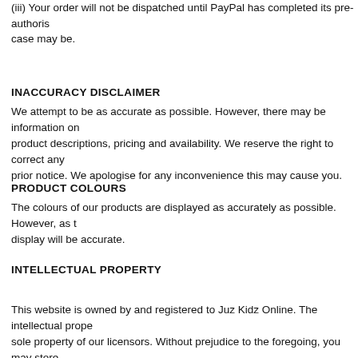(iii) Your order will not be dispatched until PayPal has completed its pre-authorisation, as the case may be.
INACCURACY DISCLAIMER
We attempt to be as accurate as possible. However, there may be information on our site that includes product descriptions, pricing and availability. We reserve the right to correct any errors, inaccuracies without prior notice. We apologise for any inconvenience this may cause you.
PRODUCT COLOURS
The colours of our products are displayed as accurately as possible. However, as the actual colours you see on display will be accurate.
INTELLECTUAL PROPERTY
This website is owned by and registered to Juz Kidz Online. The intellectual property on this website is the sole property of our licensors. Without prejudice to the foregoing, you may store